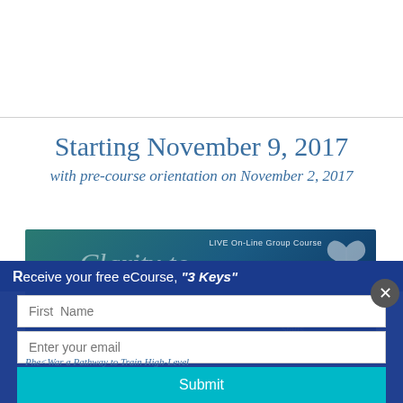Starting November 9, 2017
with pre-course orientation on November 2, 2017
[Figure (screenshot): Banner for LIVE On-Line Group Course 'Clarity to...' with teal/blue gradient background and dove imagery]
Receive your free eCourse, "3 Keys"
First Name
Enter your email
Submit